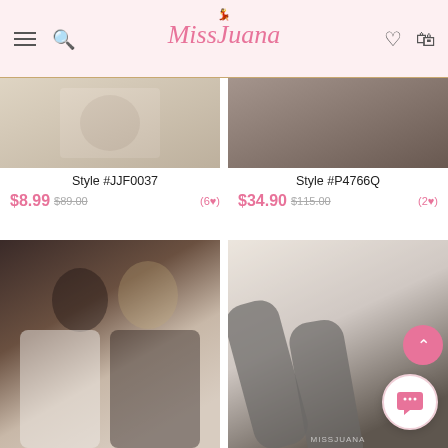MissJuana navigation header with logo, hamburger menu, search, wishlist and bag icons
Style #JJF0037
$8.99 $89.00 (6♥)
Style #P4766Q
$34.90 $115.00 (2♥)
[Figure (photo): Fashion lingerie product photo top-left cropped]
[Figure (photo): Fashion lingerie product photo top-right cropped]
[Figure (photo): Two women wearing white and black lace lingerie bodysuits]
[Figure (photo): Close-up of legs wearing sheer black stockings on white sofa]